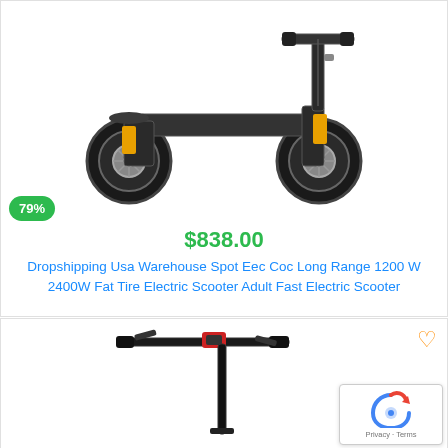[Figure (photo): Electric scooter with fat tires, yellow brake accents, dark grey body, viewed from side angle]
79%
$838.00
Dropshipping Usa Warehouse Spot Eec Coc Long Range 1200 W 2400W Fat Tire Electric Scooter Adult Fast Electric Scooter
[Figure (photo): Lightweight electric scooter with thin frame, viewed from front/top showing handlebars, black with red accent]
[Figure (logo): Google reCAPTCHA badge with Privacy and Terms text]